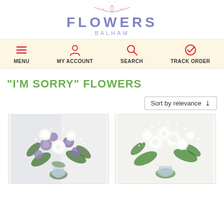[Figure (logo): Flowers Balham logo with decorative branch, 'FLOWERS' in purple-blue bold letters, 'BALHAM' in smaller spaced letters]
[Figure (infographic): Navigation bar with four items: MENU (hamburger icon), MY ACCOUNT (person icon), SEARCH (magnifying glass icon), TRACK ORDER (circle checkmark icon), all in red on cream background]
"I'M SORRY" FLOWERS
Sort by relevance
[Figure (photo): Bouquet of white roses and purple/lilac tulip-like flowers with green foliage and baby's breath in a glass vase]
[Figure (photo): Bouquet of white roses with baby's breath and green foliage in a glass vase]